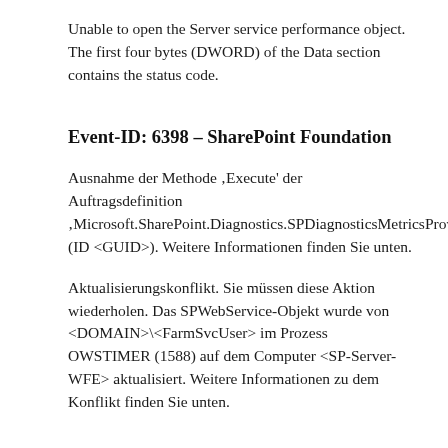Unable to open the Server service performance object. The first four bytes (DWORD) of the Data section contains the status code.
Event-ID: 6398 – SharePoint Foundation
Ausnahme der Methode ‚Execute' der Auftragsdefinition ‚Microsoft.SharePoint.Diagnostics.SPDiagnosticsMetricsProvider' (ID <GUID>). Weitere Informationen finden Sie unten.
Aktualisierungskonflikt. Sie müssen diese Aktion wiederholen. Das SPWebService-Objekt wurde von <DOMAIN>\<FarmSvcUser> im Prozess OWSTIMER (1588) auf dem Computer <SP-Server-WFE> aktualisiert. Weitere Informationen zu dem Konflikt finden Sie unten.